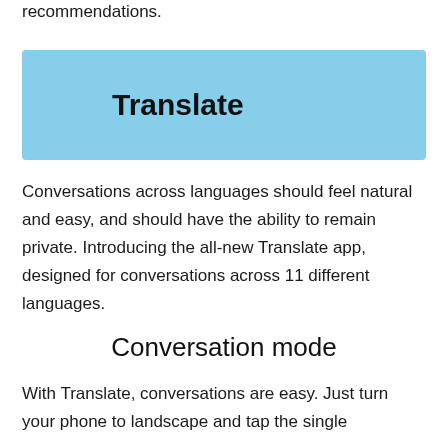recommendations.
Translate
Conversations across languages should feel natural and easy, and should have the ability to remain private. Introducing the all-new Translate app, designed for conversations across 11 different languages.
Conversation mode
With Translate, conversations are easy. Just turn your phone to landscape and tap the single